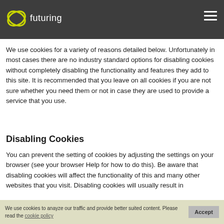futuring
How We Use Cookies
We use cookies for a variety of reasons detailed below. Unfortunately in most cases there are no industry standard options for disabling cookies without completely disabling the functionality and features they add to this site. It is recommended that you leave on all cookies if you are not sure whether you need them or not in case they are used to provide a service that you use.
Disabling Cookies
You can prevent the setting of cookies by adjusting the settings on your browser (see your browser Help for how to do this). Be aware that disabling cookies will affect the functionality of this and many other websites that you visit. Disabling cookies will usually result in
We use cookies to anayze our traffic and provide better suited content. Please read the cookie policy